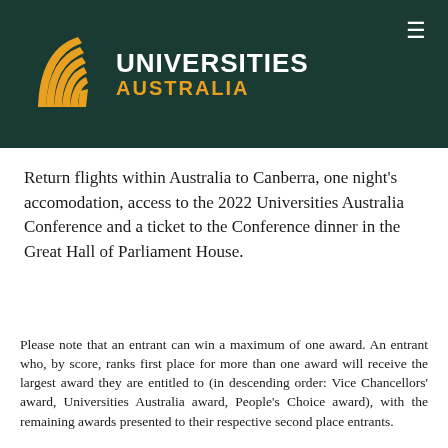[Figure (logo): Universities Australia logo: orange stylized sail/arc shape on dark green background, with 'UNIVERSITIES AUSTRALIA' text in white and gold]
Return flights within Australia to Canberra, one night's accomodation, access to the 2022 Universities Australia Conference and a ticket to the Conference dinner in the Great Hall of Parliament House.
Please note that an entrant can win a maximum of one award. An entrant who, by score, ranks first place for more than one award will receive the largest award they are entitled to (in descending order: Vice Chancellors' award, Universities Australia award, People's Choice award), with the remaining awards presented to their respective second place entrants.